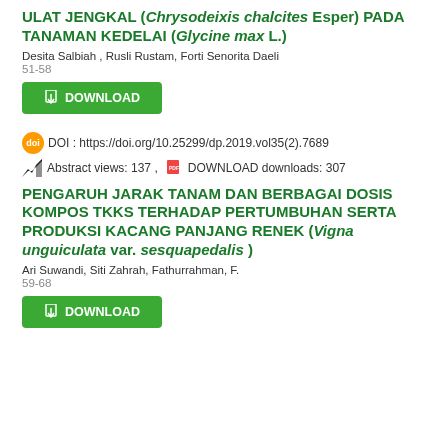ULAT JENGKAL (Chrysodeixis chalcites Esper) PADA TANAMAN KEDELAI (Glycine max L.)
Desita Salbiah , Rusli Rustam, Forti Senorita Daeli
51-58
[Figure (other): DOWNLOAD button (green)]
DOI : https://doi.org/10.25299/dp.2019.vol35(2).7689
Abstract views: 137 , DOWNLOAD downloads: 307
PENGARUH JARAK TANAM DAN BERBAGAI DOSIS KOMPOS TKKS TERHADAP PERTUMBUHAN SERTA PRODUKSI KACANG PANJANG RENEK (Vigna unguiculata var. sesquapedalis )
Ari Suwandi, Siti Zahrah, Fathurrahman, F.
59-68
[Figure (other): DOWNLOAD button (green)]